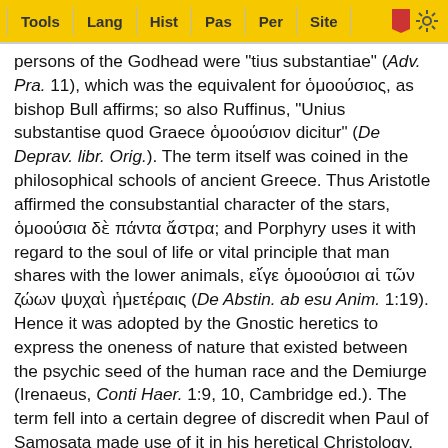Tools | Lang | Hist | Pas | Per | Site
persons of the Godhead were "tius substantiae" (Adv. Pra. 11), which was the equivalent for ὁμοούσιος, as bishop Bull affirms; so also Ruffinus, "Unius substantise quod Graece ὁμοούσιον dicitur" (De Deprav. libr. Orig.). The term itself was coined in the philosophical schools of ancient Greece. Thus Aristotle affirmed the consubstantial character of the stars, ὁμοούσια δὲ πάντα ἄστρα; and Porphyry uses it with regard to the soul of life or vital principle that man shares with the lower animals, εἴγε ὁμοούσιοι αἱ τῶν ζώων ψυχαὶ ἡμετέραις (De Abstin. ab esu Anim. 1:19). Hence it was adopted by the Gnostic heretics to express the oneness of nature that existed between the psychic seed of the human race and the Demiurge (Irenaeus, Conti Haer. 1:9, 10, Cambridge ed.). The term fell into a certain degree of discredit when Paul of Samosata made use of it in his heretical Christology. He maintained that Christ had no pre-existe[...redacted...]e could[...redacted...]e